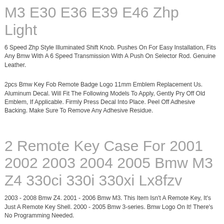M3 E30 E36 E39 E46 Zhp Light
6 Speed Zhp Style Illuminated Shift Knob. Pushes On For Easy Installation, Fits Any Bmw With A 6 Speed Transmission With A Push On Selector Rod. Genuine Leather.
2pcs Bmw Key Fob Remote Badge Logo 11mm Emblem Replacement Us. Aluminum Decal. Will Fit The Following Models To Apply, Gently Pry Off Old Emblem, If Applicable. Firmly Press Decal Into Place. Peel Off Adhesive Backing. Make Sure To Remove Any Adhesive Residue.
2 Remote Key Case For 2001 2002 2003 2004 2005 Bmw M3 Z4 330ci 330i 330xi Lx8fzv
2003 - 2008 Bmw Z4. 2001 - 2006 Bmw M3. This Item Isn't A Remote Key, It's Just A Remote Key Shell. 2000 - 2005 Bmw 3-series. Bmw Logo On It! There's No Programming Needed.